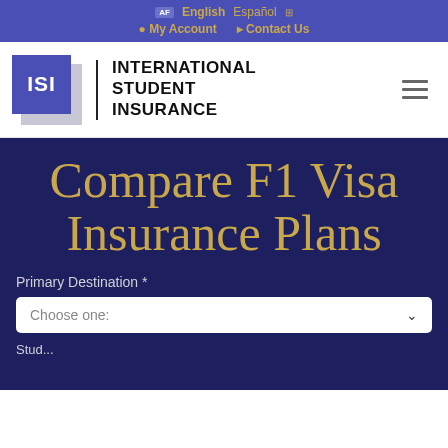AF English Espanol | My Account | Contact Us
[Figure (logo): ISI International Student Insurance logo with blue square and stylized ISI text]
Compare F1 Visa Insurance Plans
Primary Destination *
Choose one:
Stud...